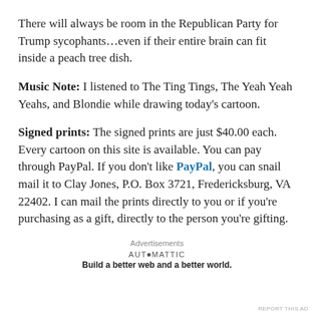There will always be room in the Republican Party for Trump sycophants…even if their entire brain can fit inside a peach tree dish.
Music Note: I listened to The Ting Tings, The Yeah Yeah Yeahs, and Blondie while drawing today's cartoon.
Signed prints: The signed prints are just $40.00 each. Every cartoon on this site is available. You can pay through PayPal. If you don't like PayPal, you can snail mail it to Clay Jones, P.O. Box 3721, Fredericksburg, VA 22402. I can mail the prints directly to you or if you're purchasing as a gift, directly to the person you're gifting.
Advertisements
[Figure (logo): Automattic logo with tagline: Build a better web and a better world.]